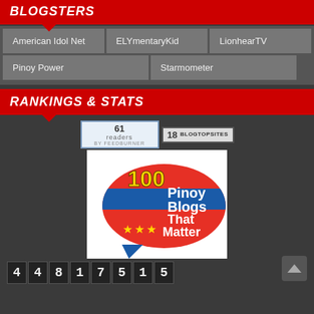BLOGSTERS
American Idol Net
ELYmentaryKid
LionhearTV
Pinoy Power
Starmometer
RANKINGS & STATS
[Figure (infographic): FeedBurner subscriber count widget showing 61 readers]
[Figure (infographic): BlogTopSites widget showing rank 18]
[Figure (logo): 100 Pinoy Blogs That Matter badge/logo with Philippine flag design and stars]
44817515